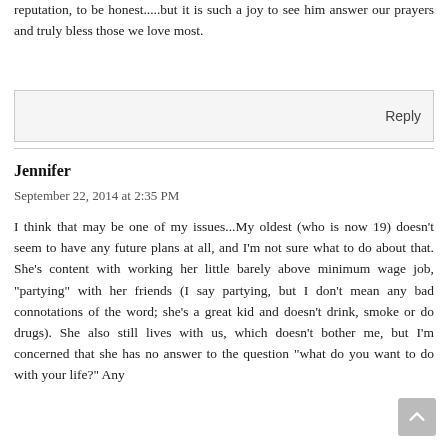reputation, to be honest.....but it is such a joy to see him answer our prayers and truly bless those we love most.
Reply
Jennifer
September 22, 2014 at 2:35 PM
I think that may be one of my issues...My oldest (who is now 19) doesn't seem to have any future plans at all, and I'm not sure what to do about that. She's content with working her little barely above minimum wage job, "partying" with her friends (I say partying, but I don't mean any bad connotations of the word; she's a great kid and doesn't drink, smoke or do drugs). She also still lives with us, which doesn't bother me, but I'm concerned that she has no answer to the question "what do you want to do with your life?" Any